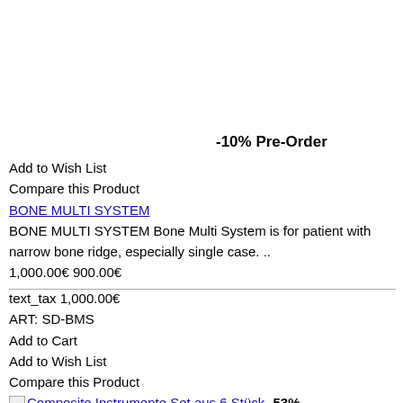-10% Pre-Order
Add to Wish List
Compare this Product
BONE MULTI SYSTEM
BONE MULTI SYSTEM Bone Multi System is for patient with narrow bone ridge, especially single case. ..
1,000.00€ 900.00€
text_tax 1,000.00€
ART: SD-BMS
Add to Cart
Add to Wish List
Compare this Product
Composite Instrumente Set aus 6 Stück -53%
Add to Wish List
Compare this Product
Composite Instrumente Set aus 6 Stück